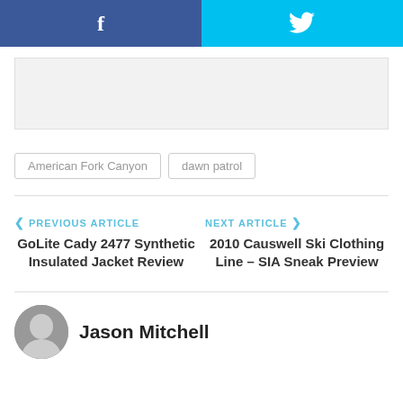[Figure (other): Social share buttons: Facebook (blue) and Twitter (cyan) side by side]
[Figure (other): Advertisement block placeholder (light gray)]
American Fork Canyon
dawn patrol
PREVIOUS ARTICLE
GoLite Cady 2477 Synthetic Insulated Jacket Review
NEXT ARTICLE
2010 Causwell Ski Clothing Line – SIA Sneak Preview
Jason Mitchell